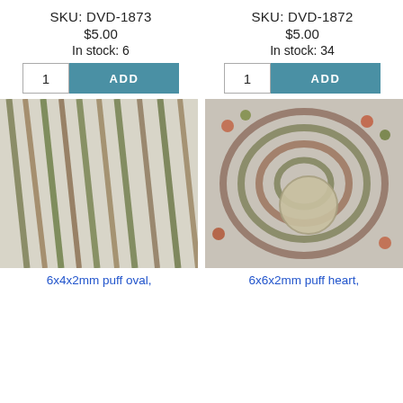SKU: DVD-1873
$5.00
In stock: 6
SKU: DVD-1872
$5.00
In stock: 34
[Figure (photo): Strands of green and pink unakite oval beads with a coin for scale]
6x4x2mm puff oval,
[Figure (photo): Strands of green and pink unakite heart beads with a coin for scale]
6x6x2mm puff heart,